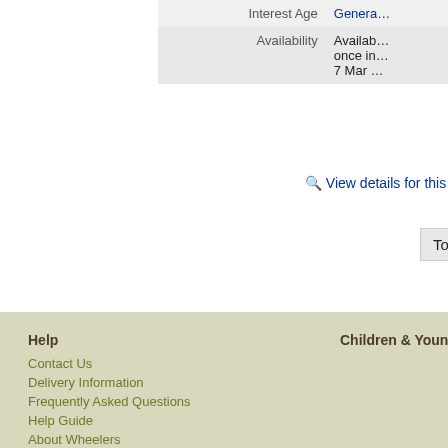| Field | Value |
| --- | --- |
| Interest Age | Genera… |
| Availability | Availab… once in… 7 Mar … |
🔍 View details for this t…
Total 4
Help
Contact Us
Delivery Information
Frequently Asked Questions
Help Guide
About Wheelers
Home Page
Admin
Legal
Terms of Use
Privacy Policy
Children & Young Adults
Adults & General …